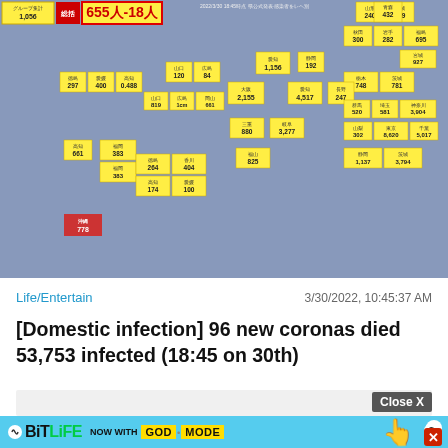[Figure (map): Japan COVID-19 infection map showing regional case counts by prefecture, dated 3/30/2022. Total cases shown as 655人-18人 with various prefecture numbers highlighted in yellow cells.]
Life/Entertain
3/30/2022, 10:45:37 AM
[Domestic infection] 96 new coronas died 53,753 infected (18:45 on 30th)
[Figure (screenshot): Advertisement placeholder area with Close X button]
[Figure (infographic): BitLife NOW WITH GOD MODE advertisement banner]